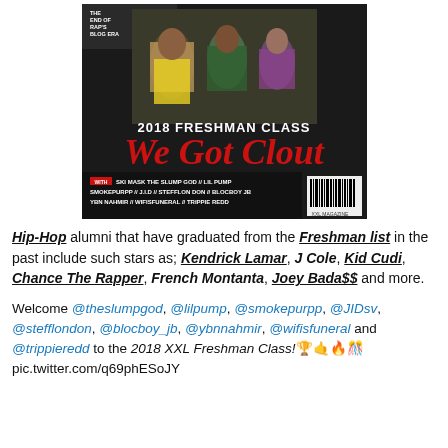[Figure (photo): XXL Magazine 2018 Freshman Class cover showing artists with text 'We Got Clout' in red, listing Ski Mask The Slump God, Lil Pump, Smokepurpp, J.I.D, Stefflon Don, Blocboy JB, YBN Nahmir, Wifisfuneral, Trippie Redd]
Hip-Hop alumni that have graduated from the Freshman list in the past include such stars as; Kendrick Lamar, J Cole, Kid Cudi, Chance The Rapper, French Montanta, Joey Bada$$ and more.
Welcome @theslumpgod, @lilpump, @smokepurpp, @JIDsv, @stefflondon, @blocboy_jb, @ybnnahmir, @wifisfuneral and @trippieredd to the 2018 XXL Freshman Class! 🏆🤙🔥🎊 pic.twitter.com/q69phESoJY